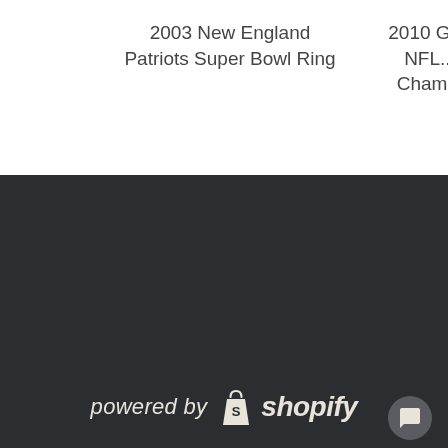2003 New England Patriots Super Bowl Ring
2010 Gr... NFL... Cham...
[Figure (logo): Powered by Shopify logo — white italic text and shopping bag icon on dark background]
ACCOUNT
COMPANY
CATEGORIES